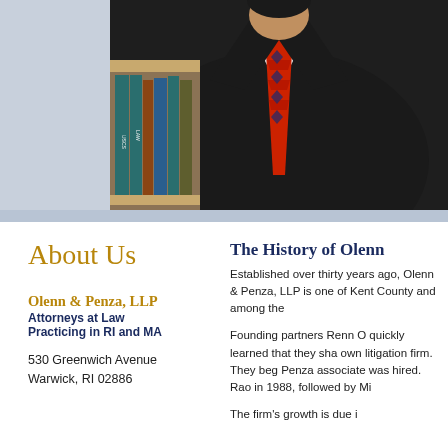[Figure (photo): Photo of a lawyer in a dark suit with a red tie, standing in front of law books on a bookshelf. The left side of the image area has a light blue-gray background sidebar.]
About Us
The History of Olenn
Established over thirty years ago, Olenn & Penza, LLP is one of Kent County and among the...
Founding partners Renn O... quickly learned that they shared a vision to open their own litigation firm. They began the firm in 1985. The first Penza associate was hired... Rao in 1988, followed by Mi...
Olenn & Penza, LLP
Attorneys at Law
Practicing in RI and MA

530 Greenwich Avenue
Warwick, RI 02886
The firm's growth is due...